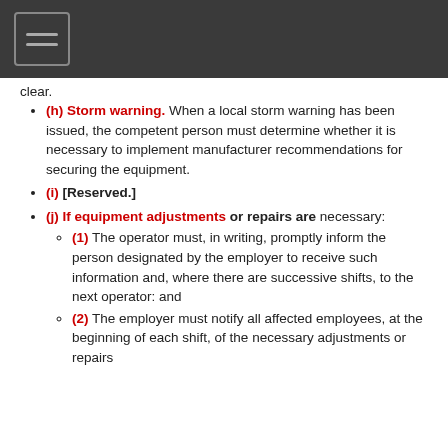≡ (menu icon)
clear.
(h) Storm warning. When a local storm warning has been issued, the competent person must determine whether it is necessary to implement manufacturer recommendations for securing the equipment.
(i) [Reserved.]
(j) If equipment adjustments or repairs are necessary:
(1) The operator must, in writing, promptly inform the person designated by the employer to receive such information and, where there are successive shifts, to the next operator: and
(2) The employer must notify all affected employees, at the beginning of each shift, of the necessary adjustments or repairs